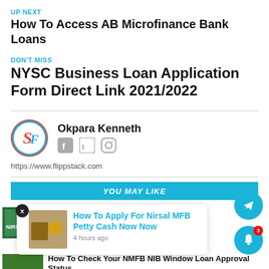UP NEXT
How To Access AB Microfinance Bank Loans
DON'T MISS
NYSC Business Loan Application Form Direct Link 2021/2022
[Figure (logo): Circular logo with letter S and F, blue border]
Okpara Kenneth
[Figure (illustration): Social media icons: Facebook, Twitter, Instagram]
https://www.flippstack.com
YOU MAY LIKE
NMFB Sends New Important Notice To All
How To Apply For Nirsal MFB Petty Cash Now Now
4 hours ago
How To Check Your NMFB NIB Window Loan Approval Status